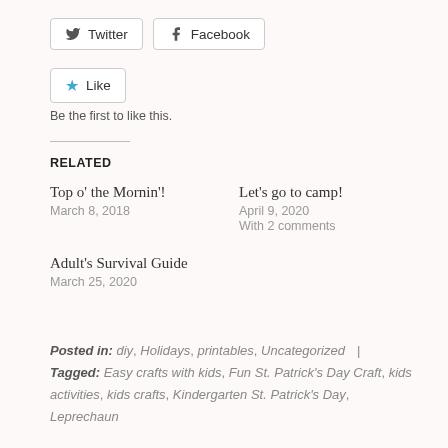[Figure (other): Twitter and Facebook share buttons]
[Figure (other): Like button widget]
Be the first to like this.
RELATED
Top o' the Mornin'!
March 8, 2018
Let's go to camp!
April 9, 2020
With 2 comments
Adult's Survival Guide
March 25, 2020
Posted in: diy, Holidays, printables, Uncategorized | Tagged: Easy crafts with kids, Fun St. Patrick's Day Craft, kids activities, kids crafts, Kindergarten St. Patrick's Day, Leprechaun